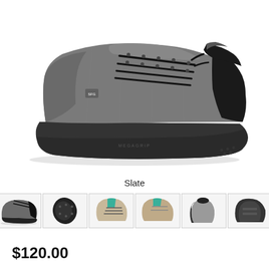[Figure (photo): Side profile view of a grey and black flat cycling/skate shoe with black rubber sole and laces, on white background]
Slate
[Figure (photo): Row of 8 thumbnail images of the shoe from various angles including side, top, bottom, and outdoor scene, with red left/right navigation arrows]
$120.00